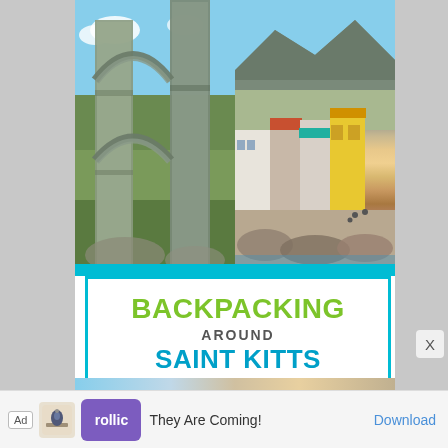[Figure (photo): Book cover for 'Backpacking Around Saint Kitts and Nevis'. Top portion shows a photo collage: left side shows stone arches/ruins with green landscape and blue sky; right side shows colorful Caribbean town buildings with mountains in the background. A cyan horizontal bar separates the photos from the title area. The title box has a cyan border on a white background.]
BACKPACKING AROUND SAINT KITTS AND NEVIS
[Figure (photo): Advertisement banner at the bottom showing 'Ad' label, an app icon, Rollic purple logo, text 'They Are Coming!' and a 'Download' link.]